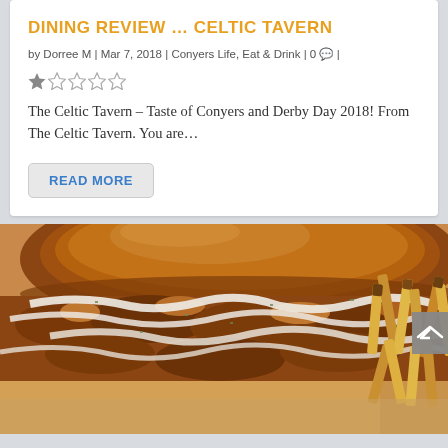DINING REVIEW … CELTIC TAVERN
by Dorree M | Mar 7, 2018 | Conyers Life, Eat & Drink | 0 |
[Figure (other): One filled star followed by four empty stars (1-star rating)]
The Celtic Tavern – Taste of Conyers and Derby Day 2018! From The Celtic Tavern. You are…
READ MORE
[Figure (photo): Close-up photo of a fried chicken sandwich with creamy white sauce drizzled on crispy fried chicken on a brioche bun, served with golden French fries beside it on a plate.]